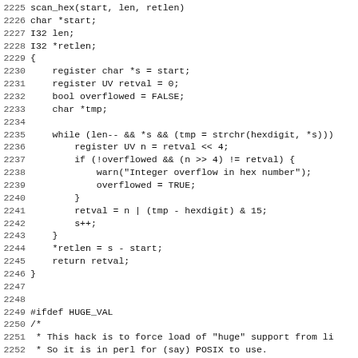[Figure (screenshot): Source code listing in monospace font showing lines 2225-2257 of a C/Perl source file, featuring scan_hex function body with hex parsing logic, overflow detection, and the beginning of a HUGE_VAL ifdef block with Perl_huge function.]